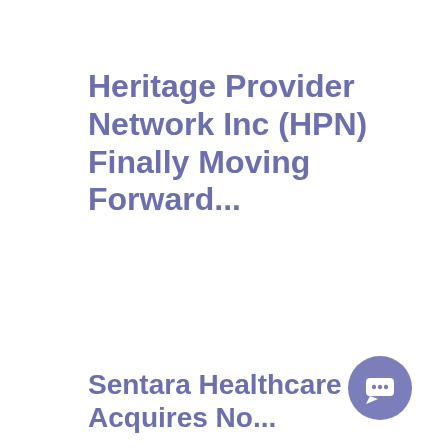Heritage Provider Network Inc (HPN) Finally Moving Forward...
Sentara Healthcare Acquires No...
[Figure (illustration): Chat bubble icon in medium purple/slate blue circle]